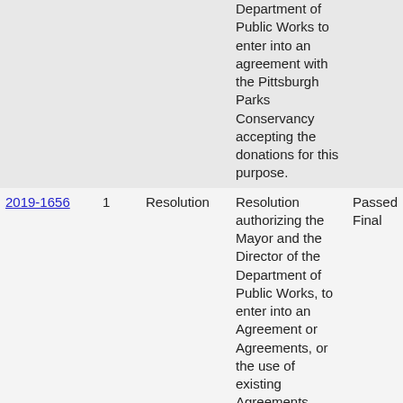| File # | Ver. | Name/Title | Description | Action |
| --- | --- | --- | --- | --- |
|  |  |  | Department of Public Works to enter into an agreement with the Pittsburgh Parks Conservancy accepting the donations for this purpose. |  |
| 2019-1656 | 1 | Resolution | Resolution authorizing the Mayor and the Director of the Department of Public Works, to enter into an Agreement or Agreements, or the use of existing Agreements, between the City of Pittsburgh and Pashek + MTR, for the professional landscape architectural... | Passed Final |